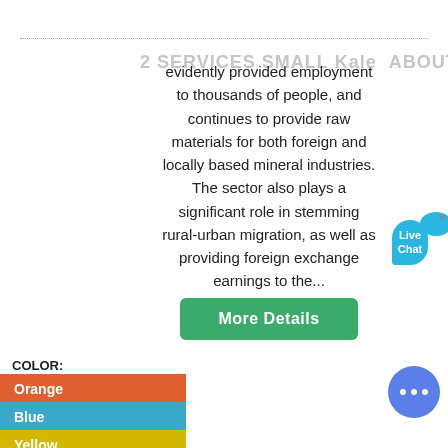SERVICES  SMALL Scale  ABOUT  in  CONTACT
evidently provided employment to thousands of people, and continues to provide raw materials for both foreign and locally based mineral industries. The sector also plays a significant role in stemming rural-urban migration, as well as providing foreign exchange earnings to the...
[Figure (other): More Details button (green rounded rectangle)]
COLOR:
Orange
Blue
Yellow
[Figure (photo): Photo of industrial/mining equipment, dark tones]
[Figure (other): Live Chat bubble widget (top right)]
[Figure (other): Blue chat icon circle (bottom right)]